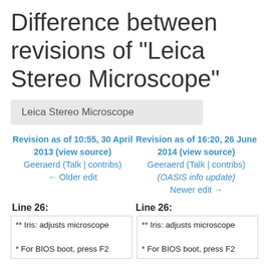Difference between revisions of "Leica Stereo Microscope"
Leica Stereo Microscope
Revision as of 10:55, 30 April 2013 (view source)
Geeraerd (Talk | contribs)
← Older edit
Revision as of 16:20, 26 June 2014 (view source)
Geeraerd (Talk | contribs)
(OASIS info update)
Newer edit →
Line 26:
Line 26:
** Iris: adjusts microscope
* For BIOS boot, press F2
** Iris: adjusts microscope
* For BIOS boot, press F2